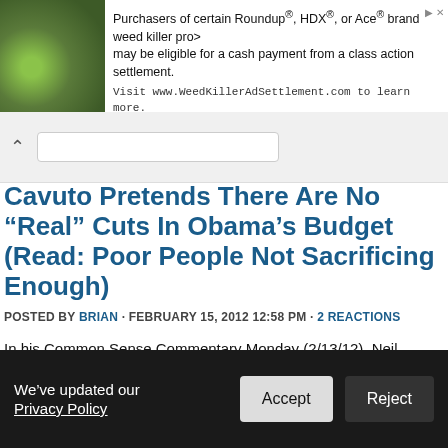[Figure (other): Advertisement banner with plant image and text about Roundup, HDX, or Ace brand weed killer class action settlement]
Cavuto Pretends There Are No “Real” Cuts In Obama’s Budget (Read: Poor People Not Sacrificing Enough)
POSTED BY BRIAN · FEBRUARY 15, 2012 12:58 PM · 2 REACTIONS
In his Common Sense Commentary Monday (2/13/12), Neil Cavuto complained that there are “really no real cuts” in President Obama’s budget for fiscal year 2013. What Cavuto seemed to mean was that rich people were sacrificing too much, the poor not enough.
Read more
We’ve updated our Privacy Policy
Accept
Reject